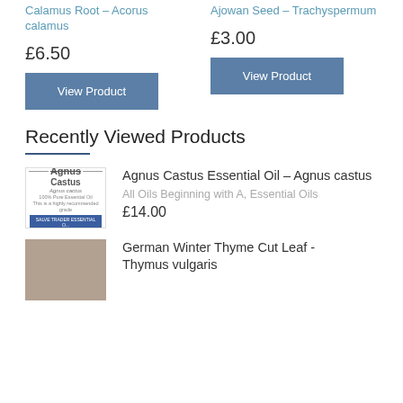Calamus Root – Acorus calamus
£6.50
View Product
Ajowan Seed – Trachyspermum
£3.00
View Product
Recently Viewed Products
Agnus Castus Essential Oil – Agnus castus
All Oils Beginning with A, Essential Oils
£14.00
German Winter Thyme Cut Leaf - Thymus vulgaris